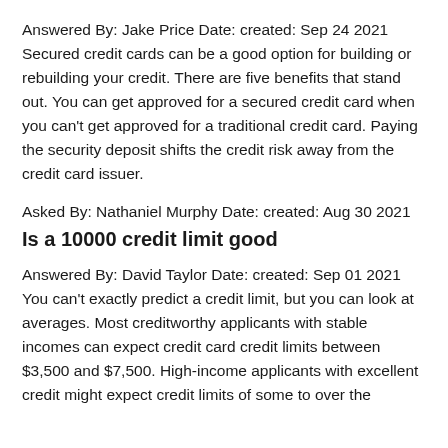Answered By: Jake Price Date: created: Sep 24 2021 Secured credit cards can be a good option for building or rebuilding your credit. There are five benefits that stand out. You can get approved for a secured credit card when you can't get approved for a traditional credit card. Paying the security deposit shifts the credit risk away from the credit card issuer.
Asked By: Nathaniel Murphy Date: created: Aug 30 2021
Is a 10000 credit limit good
Answered By: David Taylor Date: created: Sep 01 2021 You can't exactly predict a credit limit, but you can look at averages. Most creditworthy applicants with stable incomes can expect credit card credit limits between $3,500 and $7,500. High-income applicants with excellent credit might expect credit limits of some to over the